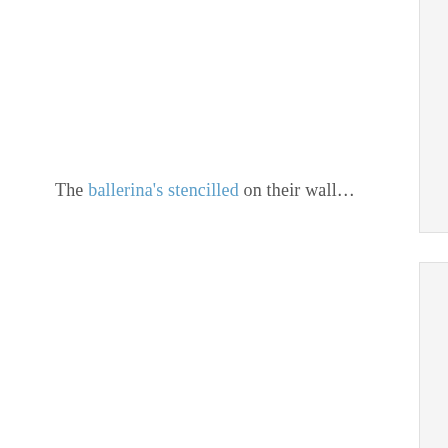The ballerina's stencilled on their wall…